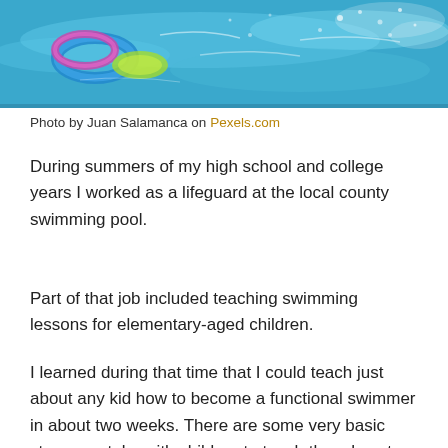[Figure (photo): Underwater photo of a swimming pool with colorful pool toys/floats visible beneath the water surface with light reflections and bubbles]
Photo by Juan Salamanca on Pexels.com
During summers of my high school and college years I worked as a lifeguard at the local county swimming pool.
Part of that job included teaching swimming lessons for elementary-aged children.
I learned during that time that I could teach just about any kid how to become a functional swimmer in about two weeks. There are some very basic steps you take with children to teach them how to swim. And so as long as you took the right steps in the right order, their chances of success were pretty